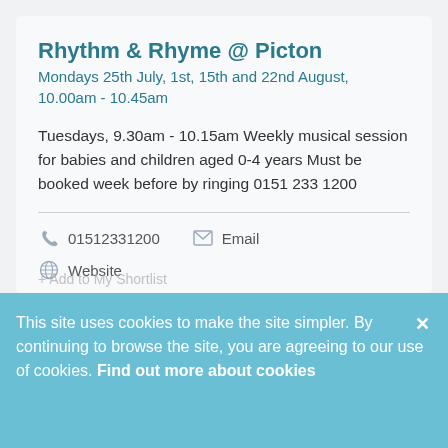Rhythm & Rhyme @ Picton
Mondays 25th July, 1st, 15th and 22nd August, 10.00am - 10.45am
Tuesdays, 9.30am - 10.15am Weekly musical session for babies and children aged 0-4 years Must be booked week before by ringing 0151 233 1200
📞 01512331200   ✉ Email
🌐 Website
+ Add to My Shortlist
This site uses cookies to make the site simpler. By continuing to browse the site, you are agreeing to our use of cookies. Find out more about cookies